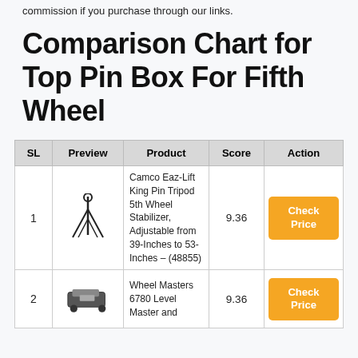commission if you purchase through our links.
Comparison Chart for Top Pin Box For Fifth Wheel
| SL | Preview | Product | Score | Action |
| --- | --- | --- | --- | --- |
| 1 | [image] | Camco Eaz-Lift King Pin Tripod 5th Wheel Stabilizer, Adjustable from 39-Inches to 53-Inches – (48855) | 9.36 | Check Price |
| 2 | [image] | Wheel Masters 6780 Level Master and | 9.36 | Check Price |